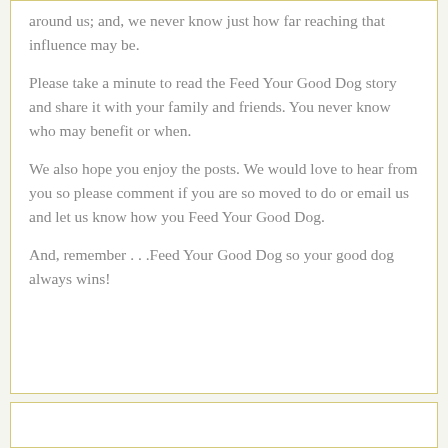around us; and, we never know just how far reaching that influence may be.
Please take a minute to read the Feed Your Good Dog story and share it with your family and friends. You never know who may benefit or when.
We also hope you enjoy the posts. We would love to hear from you so please comment if you are so moved to do or email us and let us know how you Feed Your Good Dog.
And, remember . . .Feed Your Good Dog so your good dog always wins!